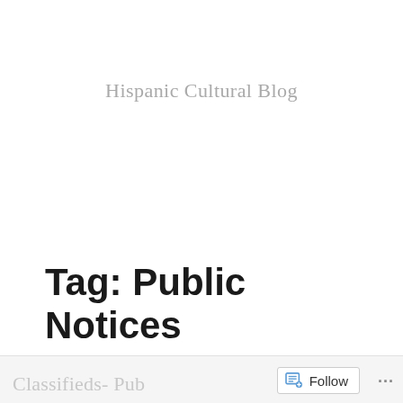Hispanic Cultural Blog
Tag: Public Notices
Classifieds- Pub...   Follow   ...